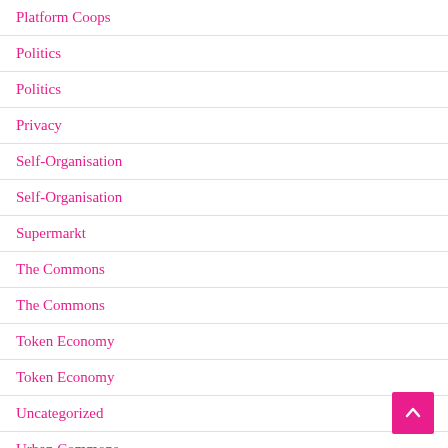Platform Coops
Politics
Politics
Privacy
Self-Organisation
Self-Organisation
Supermarkt
The Commons
The Commons
Token Economy
Token Economy
Uncategorized
Urban Commons
Urban Commons